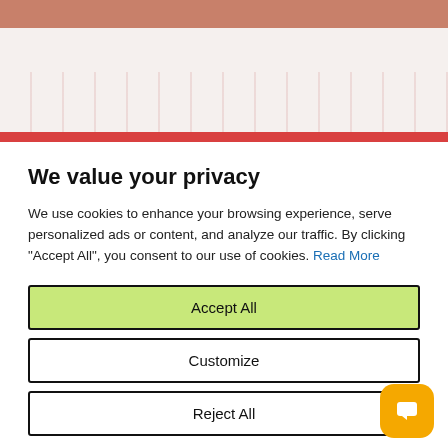[Figure (screenshot): Top decorative area with brownish-red bar and patterned background with red stripe]
We value your privacy
We use cookies to enhance your browsing experience, serve personalized ads or content, and analyze our traffic. By clicking "Accept All", you consent to our use of cookies. Read More
Accept All
Customize
Reject All